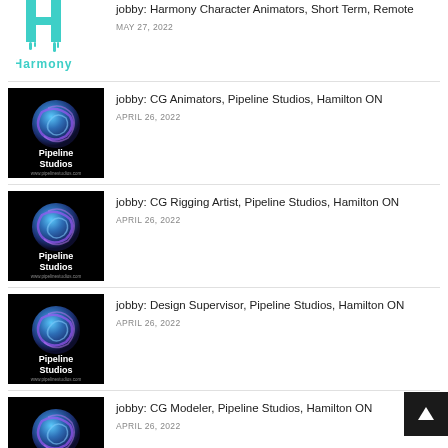[Figure (logo): Harmony logo (teal H icon and teal Harmony text) - partial view at top]
jobby: Harmony Character Animators, Short Term, Remote
MAY 27, 2022
[Figure (logo): Pipeline Studios logo - blue swirling sphere on black background]
jobby: CG Animators, Pipeline Studios, Hamilton ON
APRIL 26, 2022
[Figure (logo): Pipeline Studios logo - blue swirling sphere on black background]
jobby: CG Rigging Artist, Pipeline Studios, Hamilton ON
APRIL 26, 2022
[Figure (logo): Pipeline Studios logo - blue swirling sphere on black background]
jobby: Design Supervisor, Pipeline Studios, Hamilton ON
APRIL 26, 2022
[Figure (logo): Pipeline Studios logo - blue swirling sphere on black background]
jobby: CG Modeler, Pipeline Studios, Hamilton ON
APRIL 26, 2022